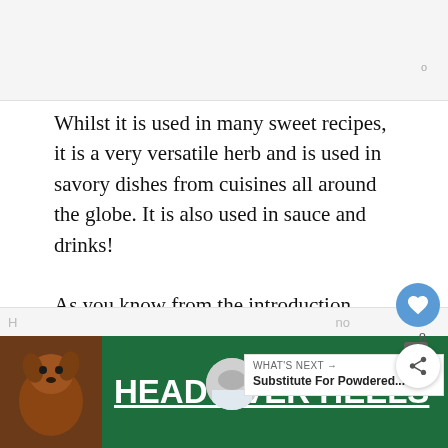Whilst it is used in many sweet recipes, it is a very versatile herb and is used in savory dishes from cuisines all around the globe. It is also used in sauce and drinks!
As you know from the introduction, allspice is the berry of the Pimenta dioica plant, and so it comes in the form of a berry. You can get these berries fresh or dried, both of which can be used for flavor.
[Figure (screenshot): HEAD OVER HEELS advertisement banner with dog image on green background]